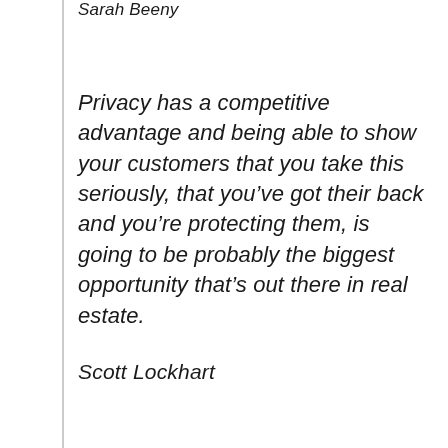Sarah Beeny
Privacy has a competitive advantage and being able to show your customers that you take this seriously, that you've got their back and you're protecting them, is going to be probably the biggest opportunity that's out there in real estate.
Scott Lockhart